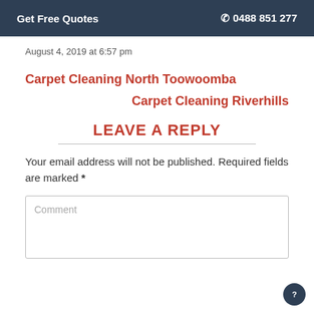Get Free Quotes   📞 0488 851 277
August 4, 2019 at 6:57 pm
Carpet Cleaning North Toowoomba
Carpet Cleaning Riverhills
LEAVE A REPLY
Your email address will not be published. Required fields are marked *
Comment